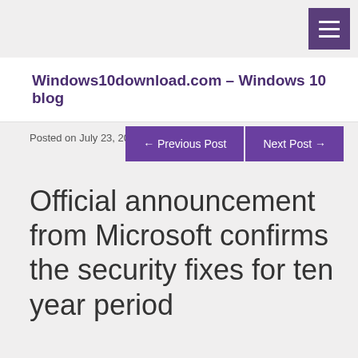Windows10download.com – Windows 10 blog
Posted on July 23, 2015 / Posted by admin
← Previous Post   Next Post →
Official announcement from Microsoft confirms the security fixes for ten year period